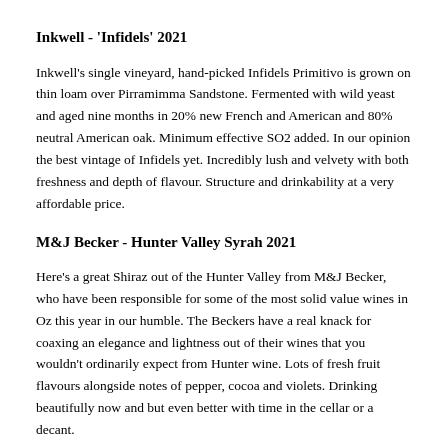Inkwell - 'Infidels' 2021
Inkwell's single vineyard, hand-picked Infidels Primitivo is grown on thin loam over Pirramimma Sandstone. Fermented with wild yeast and aged nine months in 20% new French and American and 80% neutral American oak. Minimum effective SO2 added. In our opinion the best vintage of Infidels yet. Incredibly lush and velvety with both freshness and depth of flavour. Structure and drinkability at a very affordable price.
M&J Becker - Hunter Valley Syrah 2021
Here's a great Shiraz out of the Hunter Valley from M&J Becker, who have been responsible for some of the most solid value wines in Oz this year in our humble. The Beckers have a real knack for coaxing an elegance and lightness out of their wines that you wouldn't ordinarily expect from Hunter wine. Lots of fresh fruit flavours alongside notes of pepper, cocoa and violets. Drinking beautifully now and but even better with time in the cellar or a decant.